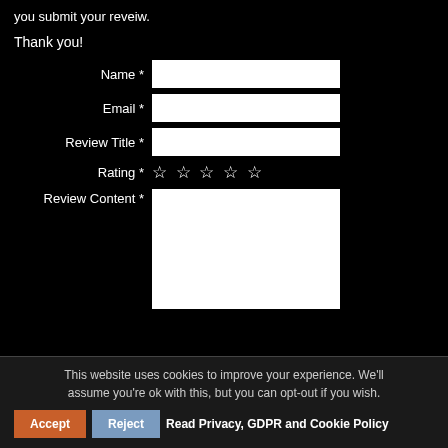you submit your reveiw.
Thank you!
Name *
Email *
Review Title *
Rating * ☆ ☆ ☆ ☆ ☆
Review Content *
This website uses cookies to improve your experience. We'll assume you're ok with this, but you can opt-out if you wish.
Accept
Reject
Read Privacy, GDPR and Cookie Policy